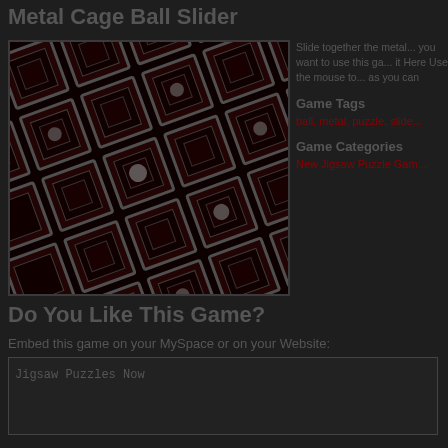Metal Cage Ball Slider
[Figure (screenshot): Screenshot of Metal Cage Ball Slider game showing a dark background with red and metallic square cage tiles arranged in a diagonal pattern]
Slide together the metal... you want to use this ga... it Here Use the mouse to... as you can
Game Tags
ball, metal, puzzle, slide...
Game Categories
New Jigsaw Puzzle Gam...
Do You Like This Game?
Embed this game on your MySpace or on your Website:
Jigsaw Puzzles Now